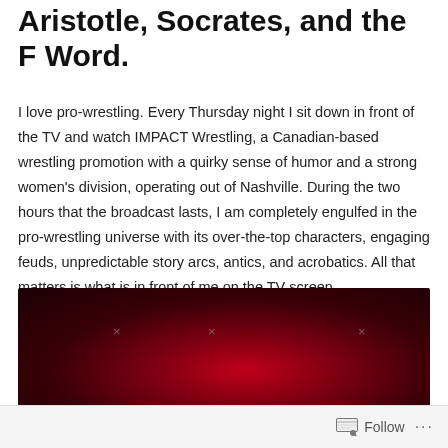Aristotle, Socrates, and the F Word.
I love pro-wrestling. Every Thursday night I sit down in front of the TV and watch IMPACT Wrestling, a Canadian-based wrestling promotion with a quirky sense of humor and a strong women's division, operating out of Nashville. During the two hours that the broadcast lasts, I am completely engulfed in the pro-wrestling universe with its over-the-top characters, engaging feuds, unpredictable story arcs, antics, and acrobatics. All that matters is what is in front of me on the TV screen.
[Figure (photo): Dark red/maroon gradient background image with faint X marks scattered across it, resembling a decorative or branded visual element.]